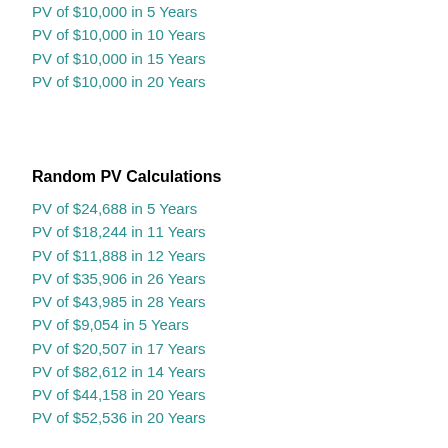PV of $10,000 in 5 Years
PV of $10,000 in 10 Years
PV of $10,000 in 15 Years
PV of $10,000 in 20 Years
Random PV Calculations
PV of $24,688 in 5 Years
PV of $18,244 in 11 Years
PV of $11,888 in 12 Years
PV of $35,906 in 26 Years
PV of $43,985 in 28 Years
PV of $9,054 in 5 Years
PV of $20,507 in 17 Years
PV of $82,612 in 14 Years
PV of $44,158 in 20 Years
PV of $52,536 in 20 Years